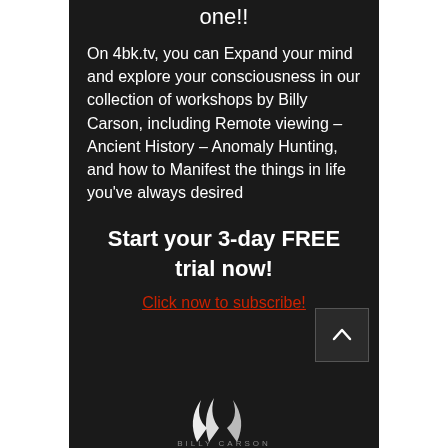one!!
On 4bk.tv, you can Expand your mind and explore your consciousness in our collection of workshops by Billy Carson, including Remote viewing - Ancient History - Anomaly Hunting, and how to Manifest the things in life you've always desired
Start your 3-day FREE trial now!
Click now to subscribe!
[Figure (logo): Billy Carson logo with white wing/swoosh graphics and text 'BILLY CARSON' at the bottom]